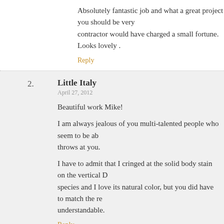Absolutely fantastic job and what a great project you should be very contractor would have charged a small fortune.
Looks lovely .
Reply
2. Little Italy
April 27, 2012
Beautiful work Mike!
I am always jealous of you multi-talented people who seem to be able to handle anything life throws at you.
I have to admit that I cringed at the solid body stain on the vertical D species and I love its natural color, but you did have to match the rest understandable.
Reply
3. David Foos
April 27, 2012